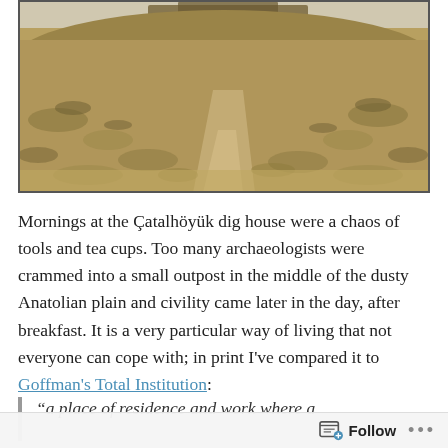[Figure (photo): Landscape photo of the Çatalhöyük archaeological site, showing a dirt path leading up a dry, grassy mound with sparse vegetation under a pale sky. A structure is faintly visible at the top of the mound.]
Mornings at the Çatalhöyük dig house were a chaos of tools and tea cups. Too many archaeologists were crammed into a small outpost in the middle of the dusty Anatolian plain and civility came later in the day, after breakfast. It is a very particular way of living that not everyone can cope with; in print I've compared it to Goffman's Total Institution:
“a place of residence and work where a